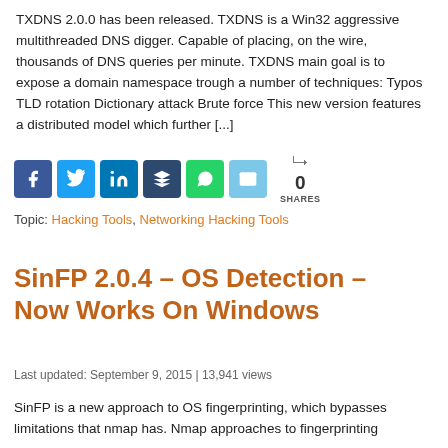TXDNS 2.0.0 has been released. TXDNS is a Win32 aggressive multithreaded DNS digger. Capable of placing, on the wire, thousands of DNS queries per minute. TXDNS main goal is to expose a domain namespace trough a number of techniques: Typos TLD rotation Dictionary attack Brute force This new version features a distributed model which further [...]
[Figure (infographic): Social share buttons row: Facebook, Twitter, LinkedIn, Buffer, WhatsApp, Email, plus share count showing 0 SHARES]
Topic: Hacking Tools, Networking Hacking Tools
SinFP 2.0.4 – OS Detection – Now Works On Windows
Last updated: September 9, 2015 | 13,941 views
SinFP is a new approach to OS fingerprinting, which bypasses limitations that nmap has. Nmap approaches to fingerprinting